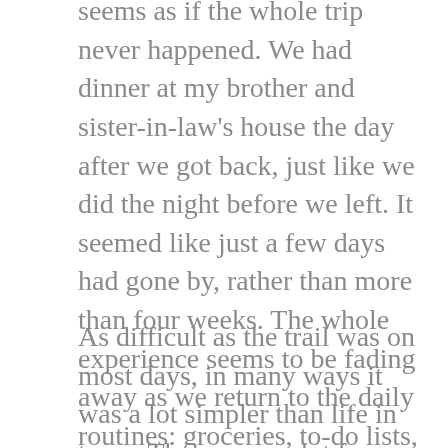seems as if the whole trip never happened. We had dinner at my brother and sister-in-law's house the day after we got back, just like we did the night before we left. It seemed like just a few days had gone by, rather than more than four weeks. The whole experience seems to be fading away as we return to the daily routines: groceries, to-do lists, plans for returning to work...
As difficult as the trail was on most days, in many ways it was a lot simpler than life in town. There were a lot fewer things to deal with each day, and those things were very